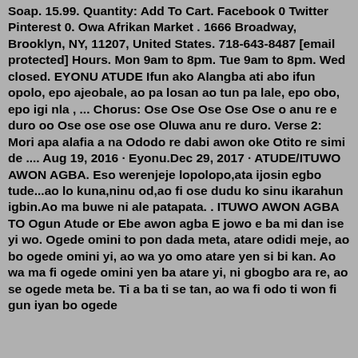Soap. 15.99. Quantity: Add To Cart. Facebook 0 Twitter Pinterest 0. Owa Afrikan Market . 1666 Broadway, Brooklyn, NY, 11207, United States. 718-643-8487 [email protected] Hours. Mon 9am to 8pm. Tue 9am to 8pm. Wed closed. EYONU ATUDE Ifun ako Alangba ati abo ifun opolo, epo ajeobale, ao pa losan ao tun pa lale, epo obo, epo igi nla , ... Chorus: Ose Ose Ose Ose Ose o anu re e duro oo Ose ose ose ose Oluwa anu re duro. Verse 2: Mori apa alafia a na Ododo re dabi awon oke Otito re simi de .... Aug 19, 2016 · Eyonu.Dec 29, 2017 · ATUDE/ITUWO AWON AGBA. Eso werenjeje lopolopo,ata ijosin egbo tude...ao lo kuna,ninu od,ao fi ose dudu ko sinu ikarahun igbin.Ao ma buwe ni ale patapata. . ITUWO AWON AGBA TO Ogun Atude or Ebe awon agba E jowo e ba mi dan ise yi wo. Ogede omini to pon dada meta, atare odidi meje, ao bo ogede omini yi, ao wa yo omo atare yen si bi kan. Ao wa ma fi ogede omini yen ba atare yi, ni gbogbo ara re, ao se ogede meta be. Ti a ba ti se tan, ao wa fi odo ti won fi gun iyan bo ogede